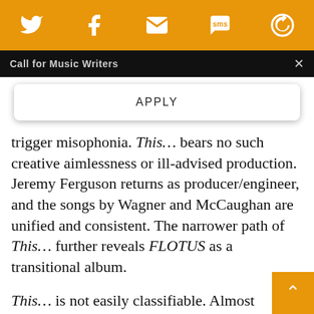[Figure (screenshot): Orange toolbar with social sharing icons: Twitter bird, Facebook f, envelope/email, SMS speech bubble, and a circular arrow/refresh icon, all white on orange background]
Call for Music Writers
APPLY
trigger misophonia. This… bears no such creative aimlessness or ill-advised production. Jeremy Ferguson returns as producer/engineer, and the songs by Wagner and McCaughan are unified and consistent. The narrower path of This… further reveals FLOTUS as a transitional album.
This… is not easily classifiable. Almost exactly two years since Sun Araw released his own warped Western album The Saddle of the Increate, Thi Wagner's most successful attempt yet to drag a